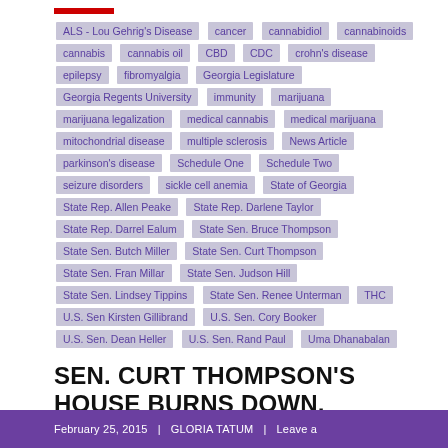ALS - Lou Gehrig's Disease, cancer, cannabidiol, cannabinoids, cannabis, cannabis oil, CBD, CDC, crohn's disease, epilepsy, fibromyalgia, Georgia Legislature, Georgia Regents University, immunity, marijuana, marijuana legalization, medical cannabis, medical marijuana, mitochondrial disease, multiple sclerosis, News Article, parkinson's disease, Schedule One, Schedule Two, seizure disorders, sickle cell anemia, State of Georgia, State Rep. Allen Peake, State Rep. Darlene Taylor, State Rep. Darrel Ealum, State Sen. Bruce Thompson, State Sen. Butch Miller, State Sen. Curt Thompson, State Sen. Fran Millar, State Sen. Judson Hill, State Sen. Lindsey Tippins, State Sen. Renee Unterman, THC, U.S. Sen Kirsten Gillibrand, U.S. Sen. Cory Booker, U.S. Sen. Dean Heller, U.S. Sen. Rand Paul, Uma Dhanabalan
SEN. CURT THOMPSON'S HOUSE BURNS DOWN, SEVERAL PETS DON'T SURVIVE
February 25, 2015 | GLORIA TATUM | Leave a